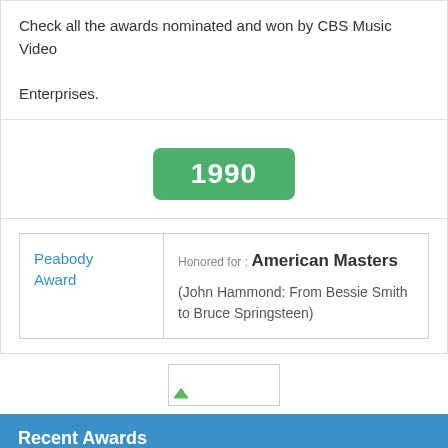Check all the awards nominated and won by CBS Music Video Enterprises.
1990
| Award | Details |
| --- | --- |
| Peabody Award | Honored for : American Masters (John Hammond: From Bessie Smith to Bruce Springsteen) |
[Figure (illustration): Small broken image placeholder icon]
Recent Awards
Wim Sonneveldprijs